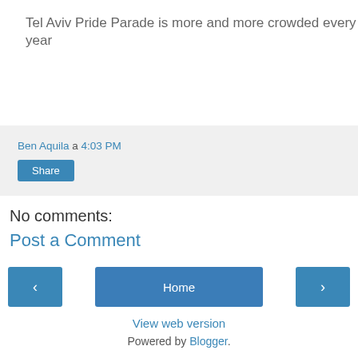Tel Aviv Pride Parade is more and more crowded every year
Ben Aquila a 4:03 PM
Share
No comments:
Post a Comment
‹
Home
›
View web version
Powered by Blogger.